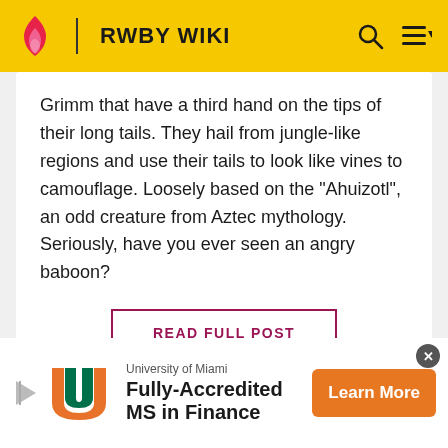RWBY WIKI
Grimm that have a third hand on the tips of their long tails. They hail from jungle-like regions and use their tails to look like vines to camouflage. Loosely based on the "Ahuizotl", an odd creature from Aztec mythology. Seriously, have you ever seen an angry baboon?
READ FULL POST
RnR • 17 December 2021
[Figure (logo): University of Miami logo with orange U and green U letters]
University of Miami
Fully-Accredited MS in Finance
Learn More